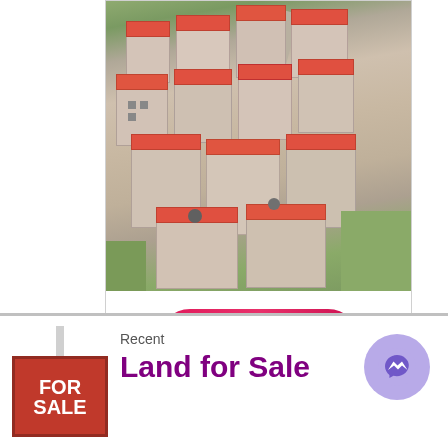[Figure (photo): Aerial drone photo of a residential housing complex with multi-storey buildings with red/orange roofs under construction, surrounded by greenery and farmland]
[Figure (other): Pink/red 'Book Now' button with double chevron arrows in a circle, inside a white card area below the aerial photo]
[Figure (other): Red 'FOR SALE' sign board on a post in the bottom-left corner]
Recent
Land for Sale
[Figure (other): Purple circular Messenger/chat button icon in bottom-right corner]